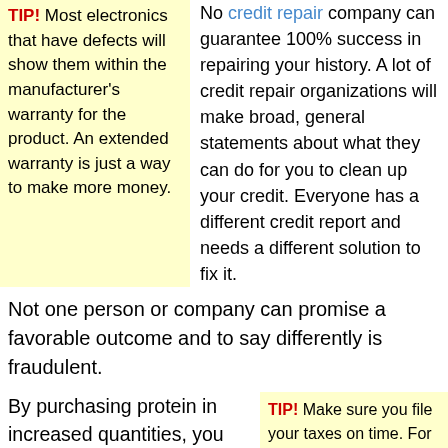TIP! Most electronics that have defects will show them within the manufacturer's warranty for the product. An extended warranty is just a way to make more money.
No credit repair company can guarantee 100% success in repairing your history. A lot of credit repair organizations will make broad, general statements about what they can do for you to clean up your credit. Everyone has a different credit report and needs a different solution to fix it.
Not one person or company can promise a favorable outcome and to say differently is fraudulent.
By purchasing protein in increased quantities, you can save money and time. If you use everything you purchase, buying in bulk can be much cheaper. A lot of time will be saved by cooking everything in one
TIP! Make sure you file your taxes on time. For a faster refund, file as early as possible.